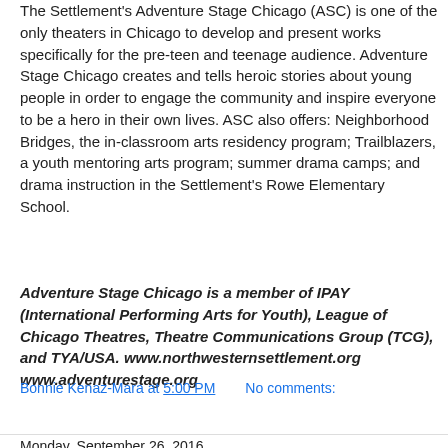The Settlement's Adventure Stage Chicago (ASC) is one of the only theaters in Chicago to develop and present works specifically for the pre-teen and teenage audience. Adventure Stage Chicago creates and tells heroic stories about young people in order to engage the community and inspire everyone to be a hero in their own lives. ASC also offers: Neighborhood Bridges, the in-classroom arts residency program; Trailblazers, a youth mentoring arts program; summer drama camps; and drama instruction in the Settlement's Rowe Elementary School.
Adventure Stage Chicago is a member of IPAY (International Performing Arts for Youth), League of Chicago Theatres, Theatre Communications Group (TCG), and TYA/USA. www.northwesternsettlement.org www.adventurestage.org
Bonnie Kenaz-Mara at 5:00 PM    No comments:
Share
Monday, September 26, 2016